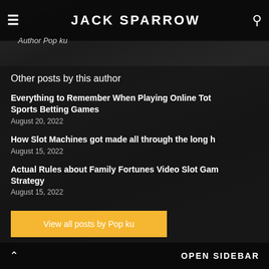JACK SPARROW
Author Pop ku
Other posts by this author
Everything to Remember When Playing Online Tot Sports Betting Games — August 20, 2022
How Slot Machines got made all through the long h — August 15, 2022
Actual Rules about Family Fortunes Video Slot Gam Strategy — August 15, 2022
View all posts by Pop ku
OPEN SIDEBAR